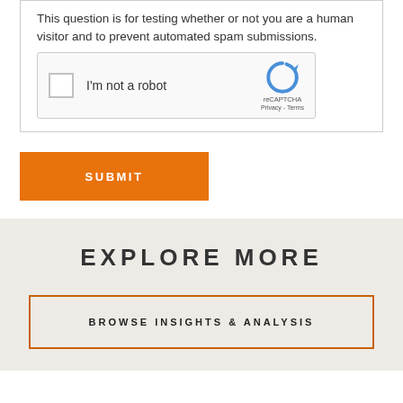This question is for testing whether or not you are a human visitor and to prevent automated spam submissions.
[Figure (screenshot): reCAPTCHA widget with checkbox labeled 'I'm not a robot' and reCAPTCHA logo with Privacy and Terms links]
SUBMIT
EXPLORE MORE
BROWSE INSIGHTS & ANALYSIS